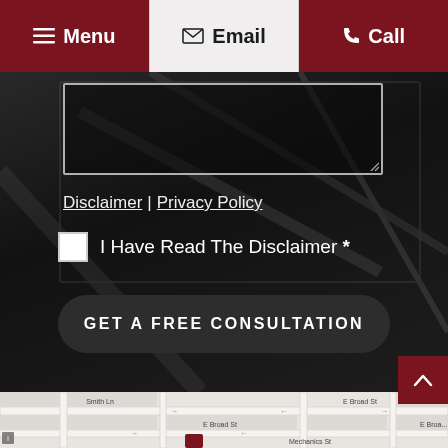Menu | Email | Call
[Figure (screenshot): Dark background with a blurred industrial/mechanical photo overlay. Contains a textarea input box at top, disclaimer and privacy policy links, a checkbox with label 'I Have Read The Disclaimer *', a GET A FREE CONSULTATION button, and a scroll-to-top button.]
Disclaimer | Privacy Policy
I Have Read The Disclaimer *
GET A FREE CONSULTATION
[Figure (map): Street map showing E Broad St, Smith Ln, Mechanics St with road grid layout.]